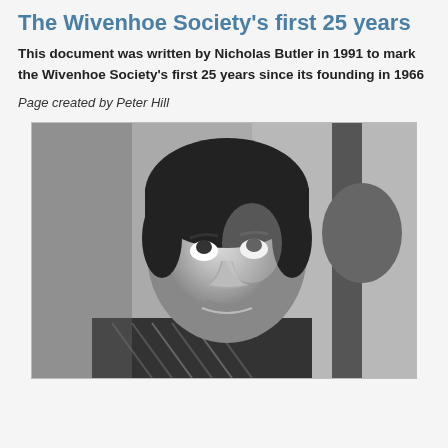The Wivenhoe Society's first 25 years
This document was written by Nicholas Butler in 1991 to mark the Wivenhoe Society's first 25 years since its founding in 1966
Page created by Peter Hill
[Figure (photo): Black and white photograph of a woman with short dark hair looking upward, with another person partially visible in the background]